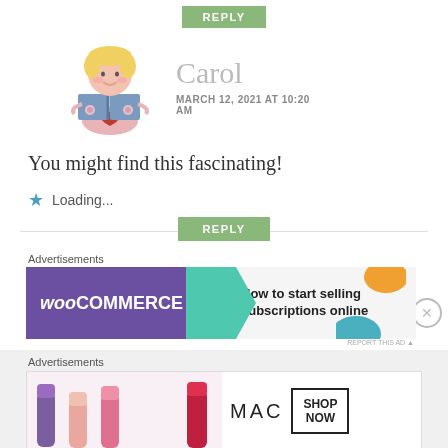REPLY
[Figure (illustration): Cartoon child reading a book with flowers on cover]
Carol
MARCH 12, 2021 AT 10:20 AM
You might find this fascinating!
Loading...
REPLY
Advertisements
[Figure (screenshot): WooCommerce advertisement: How to start selling subscriptions online]
Advertisements
[Figure (screenshot): MAC cosmetics advertisement with lipsticks and SHOP NOW button]